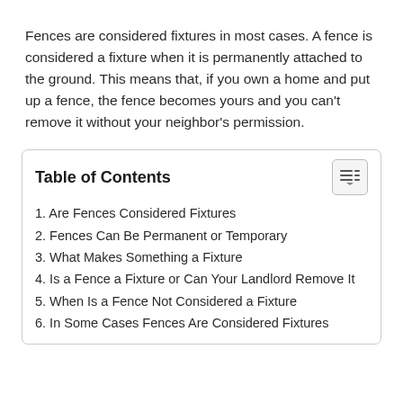Fences are considered fixtures in most cases. A fence is considered a fixture when it is permanently attached to the ground. This means that, if you own a home and put up a fence, the fence becomes yours and you can't remove it without your neighbor's permission.
| Table of Contents |
| --- |
| 1. Are Fences Considered Fixtures |
| 2. Fences Can Be Permanent or Temporary |
| 3. What Makes Something a Fixture |
| 4. Is a Fence a Fixture or Can Your Landlord Remove It |
| 5. When Is a Fence Not Considered a Fixture |
| 6. In Some Cases Fences Are Considered Fixtures |